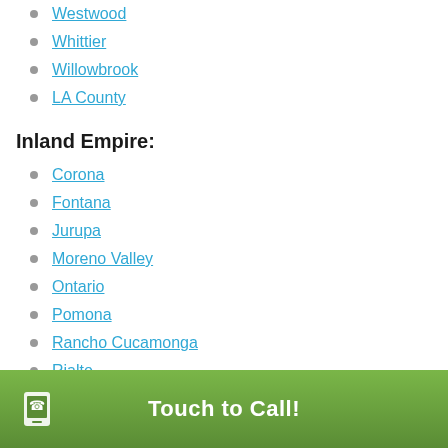Westwood
Whittier
Willowbrook
LA County
Inland Empire:
Corona
Fontana
Jurupa
Moreno Valley
Ontario
Pomona
Rancho Cucamonga
Rialto
Riverside
San Bernardino
Inland Empire
Touch to Call!